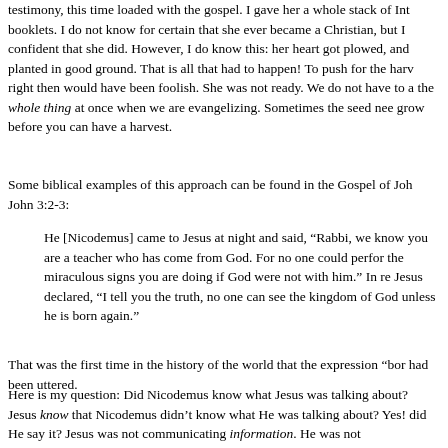testimony, this time loaded with the gospel. I gave her a whole stack of Int booklets. I do not know for certain that she ever became a Christian, but I confident that she did. However, I do know this: her heart got plowed, and planted in good ground. That is all that had to happen! To push for the harv right then would have been foolish. She was not ready. We do not have to a the whole thing at once when we are evangelizing. Sometimes the seed nee grow before you can have a harvest.
Some biblical examples of this approach can be found in the Gospel of Joh John 3:2-3:
He [Nicodemus] came to Jesus at night and said, “Rabbi, we know you are a teacher who has come from God. For no one could perfor the miraculous signs you are doing if God were not with him.” In re Jesus declared, “I tell you the truth, no one can see the kingdom of God unless he is born again.”
That was the first time in the history of the world that the expression “bor had been uttered.
Here is my question: Did Nicodemus know what Jesus was talking about? Jesus know that Nicodemus didn’t know what He was talking about? Yes! did He say it? Jesus was not communicating information. He was not communicating gospel. There was no light in His statement. Many people think if you say “born again” often enough, you are preaching the gospel